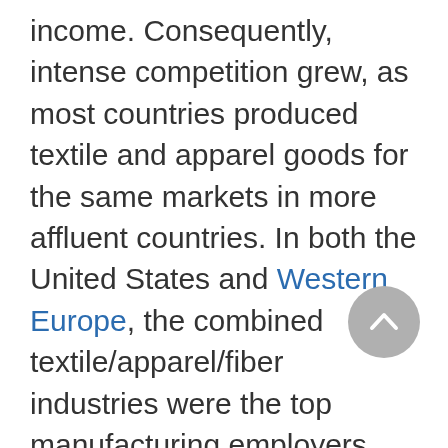income. Consequently, intense competition grew, as most countries produced textile and apparel goods for the same markets in more affluent countries. In both the United States and Western Europe, the combined textile/apparel/fiber industries were the top manufacturing employers and vital contributors to the economy in every case. Worried about loss of home markets to imports, domestic producers pressured their governments to enact measures to